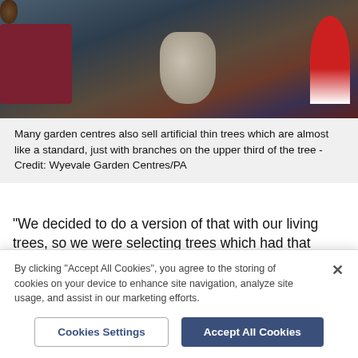[Figure (photo): Photo of Christmas decorations on a table: pine cones, a white/grey vase, a dark red box, a Santa hat on the right, and a glass on the left, all with a dark moody background.]
Many garden centres also sell artificial thin trees which are almost like a standard, just with branches on the upper third of the tree - Credit: Wyevale Garden Centres/PA
“We decided to do a version of that with our living trees, so we were selecting trees which had that layered effect, and prune in the field to get that shape and layered effect.”
Alternatively, the Fraser fir has a much more narrow
By clicking “Accept All Cookies”, you agree to the storing of cookies on your device to enhance site navigation, analyze site usage, and assist in our marketing efforts.